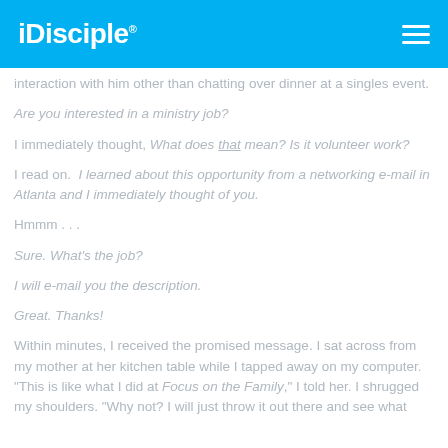iDisciple
interaction with him other than chatting over dinner at a singles event.
Are you interested in a ministry job?
I immediately thought, What does that mean? Is it volunteer work?
I read on.  I learned about this opportunity from a networking e-mail in Atlanta and I immediately thought of you.
Hmmm . . .
Sure. What's the job?
I will e-mail you the description.
Great. Thanks!
Within minutes, I received the promised message. I sat across from my mother at her kitchen table while I tapped away on my computer. "This is like what I did at Focus on the Family," I told her. I shrugged my shoulders. "Why not? I will just throw it out there and see what